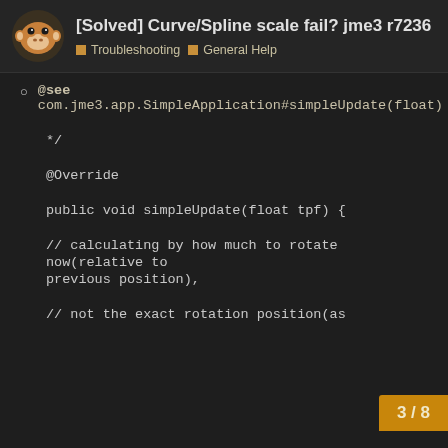[Solved] Curve/Spline scale fail? jme3 r7236
Troubleshooting  General Help
@see
com.jme3.app.SimpleApplication#simpleUpdate(float)
*/
@Override
public void simpleUpdate(float tpf) {
// calculating by how much to rotate now(relative to previous position),
// not the exact rotation position(as
3 / 8